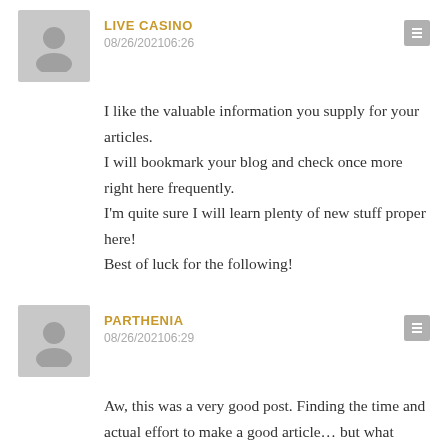[Figure (illustration): Gray avatar silhouette icon for user LIVE CASINO]
LIVE CASINO
08/26/202106:26
I like the valuable information you supply for your articles.
I will bookmark your blog and check once more right here frequently.
I'm quite sure I will learn plenty of new stuff proper here!
Best of luck for the following!
[Figure (illustration): Gray avatar silhouette icon for user PARTHENIA]
PARTHENIA
08/26/202106:29
Aw, this was a very good post. Finding the time and actual effort to make a good article… but what